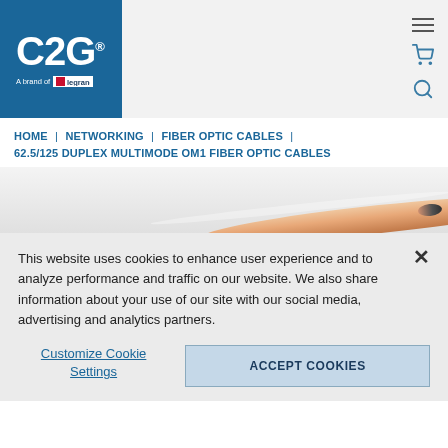[Figure (logo): C2G logo on blue background with 'A brand of Legrand' text]
HOME | NETWORKING | FIBER OPTIC CABLES | 62.5/125 DUPLEX MULTIMODE OM1 FIBER OPTIC CABLES
[Figure (photo): Close-up photo of a fiber optic cable connector end]
This website uses cookies to enhance user experience and to analyze performance and traffic on our website. We also share information about your use of our site with our social media, advertising and analytics partners.
Customize Cookie Settings | ACCEPT COOKIES